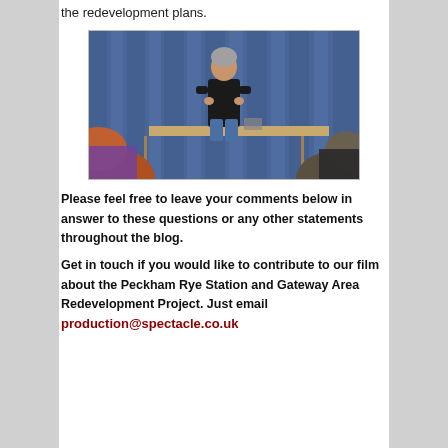the redevelopment plans.
[Figure (photo): A man standing at the front of a meeting room speaking, with a blue curtain behind him and audience members visible in the foreground with their backs to the camera.]
Please feel free to leave your comments below in answer to these questions or any other statements throughout the blog.
Get in touch if you would like to contribute to our film about the Peckham Rye Station and Gateway Area Redevelopment Project. Just email production@spectacle.co.uk